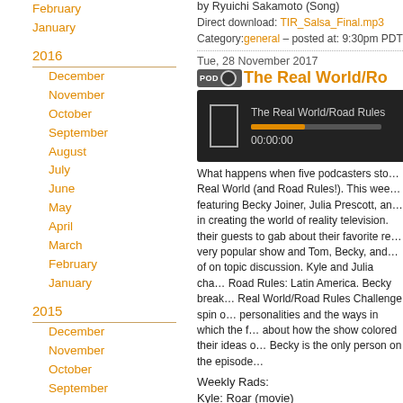February
January
2016
December
November
October
September
August
July
June
May
April
March
February
January
2015
December
November
October
September
August
July
June
May
April
March
by Ryuichi Sakamoto (Song)
Direct download: TIR_Salsa_Final.mp3
Category:general — posted at: 9:30pm PDT
Tue, 28 November 2017
The Real World/Ro...
[Figure (screenshot): Podcast audio player showing 'The Real World/Road Rules' episode, 00:00:00 timestamp]
What happens when five podcasters stop... Real World (and Road Rules!). This week featuring Becky Joiner, Julia Prescott, an... in creating the world of reality television. their guests to gab about their favorite re... very popular show and Tom, Becky, and... of on topic discussion. Kyle and Julia cha... Road Rules: Latin America. Becky break... Real World/Road Rules Challenge spin o... personalities and the ways in which the f... about how the show colored their ideas o... Becky is the only person on the episode...
Weekly Rads:
Kyle: Roar (movie)
Burnside: Riverdale (show)
Tom: Gwar (band)